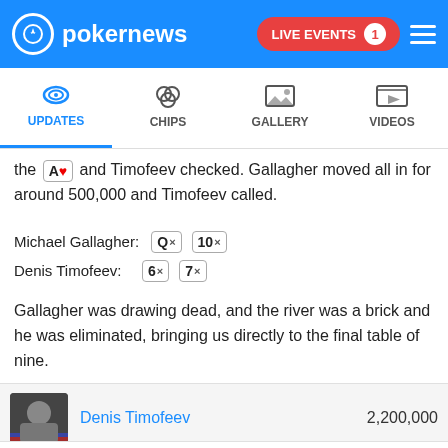pokernews — LIVE EVENTS 1
UPDATES | CHIPS | GALLERY | VIDEOS
the A♥ and Timofeev checked. Gallagher moved all in for around 500,000 and Timofeev called.
Michael Gallagher: Q× 10×
Denis Timofeev: 6× 7×
Gallagher was drawing dead, and the river was a brick and he was eliminated, bringing us directly to the final table of nine.
| Player | Chips |
| --- | --- |
| Denis Timofeev | 2,200,000 |
| Michael Gallagher | Busted |